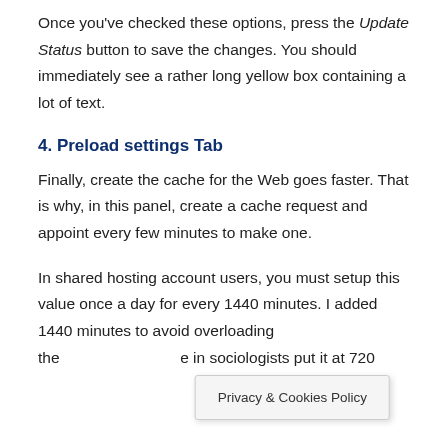Once you've checked these options, press the Update Status button to save the changes. You should immediately see a rather long yellow box containing a lot of text.
4. Preload settings Tab
Finally, create the cache for the Web goes faster. That is why, in this panel, create a cache request and appoint every few minutes to make one.
In shared hosting account users, you must setup this value once a day for every 1440 minutes. I added 1440 minutes to avoid overloading the [server] in sociologists put it at 720 [minutes] updated
Privacy & Cookies Policy